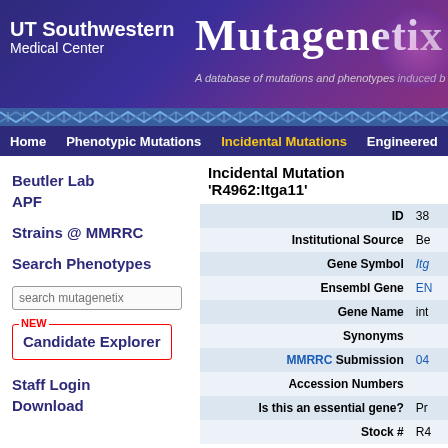[Figure (logo): UT Southwestern Medical Center logo and Mutagenetix header banner with DNA helix graphic]
Home | Phenotypic Mutations | Incidental Mutations | Engineered
Beutler Lab
APF
Strains @ MMRRC
Search Phenotypes
search mutagenetix
NEW
Candidate Explorer
Staff Login
Download
Incidental Mutation 'R4962:Itga11'
| Field | Value |
| --- | --- |
| ID | 38... |
| Institutional Source | Be... |
| Gene Symbol | Itg... |
| Ensembl Gene | EN... |
| Gene Name | int... |
| Synonyms |  |
| MMRRC Submission | 04... |
| Accession Numbers |  |
| Is this an essential gene? | Pr... |
| Stock # | R4... |